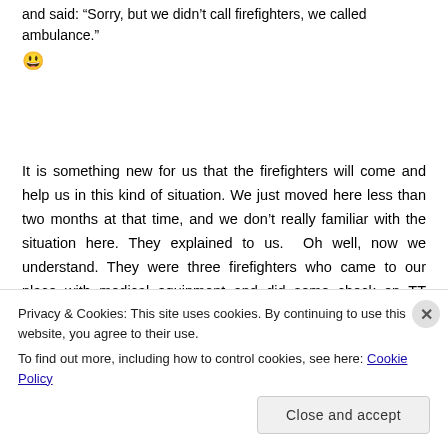and said: “Sorry, but we didn’t call firefighters, we called ambulance.” 😀
It is something new for us that the firefighters will come and help us in this kind of situation. We just moved here less than two months at that time, and we don’t really familiar with the situation here. They explained to us.  Oh well, now we understand. They were three firefighters who came to our place with medical equipment and did some check on TT before the Ambulance came. They were Brian Pease (The Captain), Brett Gainey and Raiden Williams. ( I have got
Privacy & Cookies: This site uses cookies. By continuing to use this website, you agree to their use.
To find out more, including how to control cookies, see here: Cookie Policy
Close and accept